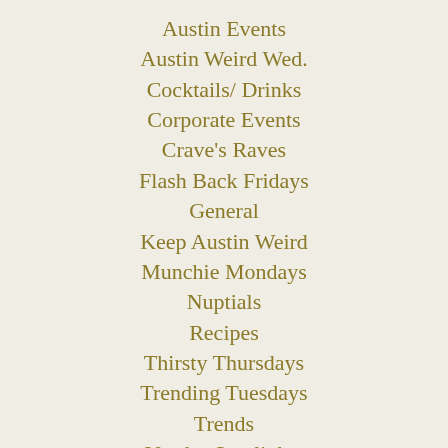Austin Events
Austin Weird Wed.
Cocktails/ Drinks
Corporate Events
Crave's Raves
Flash Back Fridays
General
Keep Austin Weird
Munchie Mondays
Nuptials
Recipes
Thirsty Thursdays
Trending Tuesdays
Trends
Vendor Spotlights
Weddings